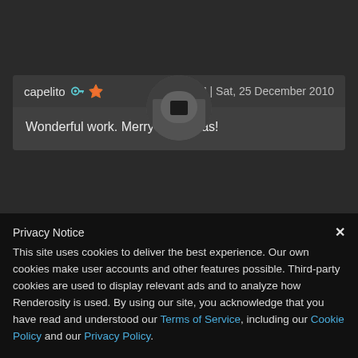[Figure (photo): Circular profile avatar photo showing a person, grayscale, at top center of page]
capelito 🔑 🏅  2:31AM | Sat, 25 December 2010
Wonderful work. Merry Christmas!
)
Privacy Notice
This site uses cookies to deliver the best experience. Our own cookies make user accounts and other features possible. Third-party cookies are used to display relevant ads and to analyze how Renderosity is used. By using our site, you acknowledge that you have read and understood our Terms of Service, including our Cookie Policy and our Privacy Policy.